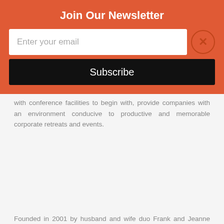...with conference facilities to begin with, provide companies with an environment conducive to productive and memorable corporate retreats and events.
Founded in 2001 by husband and wife duo Frank and Jeanne Cretella, Landmark Hospitality is a multi-faceted company specializing in adaptive restoration, primarily with landmarked or historical properties.
For more information, visit loganinn.com.
Join Our Newsletter
Enter your email
Subscribe
[Figure (photo): Hotel room interior with decorative wall panels, warm lighting wall sconces, a bed, and a person sitting in background near a window]